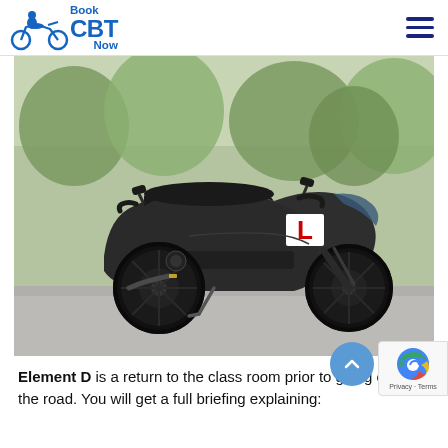Book CBT Now
[Figure (photo): A black scooter/moped with a red L-plate (learner plate) displayed on the body, parked on a road with blurred green trees in the background.]
Element D is a return to the class room prior to going out on the road. You will get a full briefing explaining: